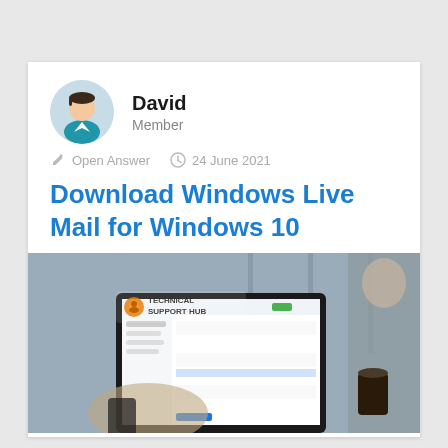David
Member
Open Answer   24 June 2021
Download Windows Live Mail for Windows 10
[Figure (photo): A laptop displaying an email client interface, with a person holding a coffee cup in the background and another person visible on the right, watermarked with Technical Support Hub logo.]